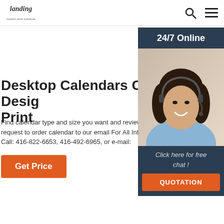landing | 24/7 Online
Desktop Calendars Custom Design Print
Find calendar type and size you want and review price request to order calendar to our email For All Information Call: 416-822-6653, 416-492-6965, or e-mail:
Get Price
[Figure (photo): Customer service woman with headset smiling, with '24/7 Online' header, 'Click here for free chat!' text, and orange QUOTATION button on dark navy sidebar]
[Figure (illustration): Pink/rose colored triangular shape at bottom of page]